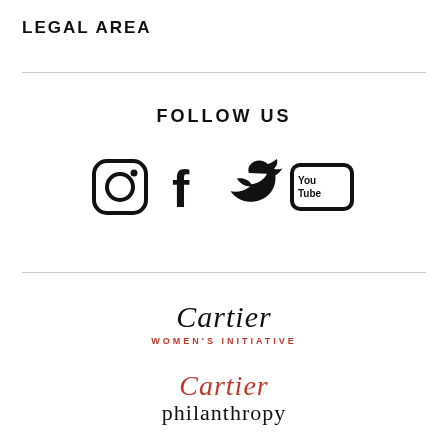LEGAL AREA
FOLLOW US
[Figure (illustration): Social media icons: Instagram, Facebook, Twitter, YouTube]
[Figure (logo): Cartier Women's Initiative logo — script 'Cartier' with 'WOMEN'S INITIATIVE' in red below]
[Figure (logo): Cartier Philanthropy logo — script 'Cartier' in red above 'philanthropy' in black serif]